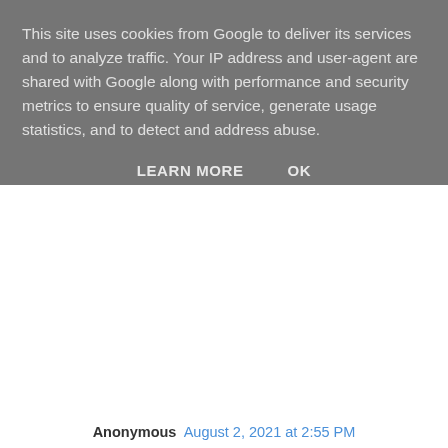This site uses cookies from Google to deliver its services and to analyze traffic. Your IP address and user-agent are shared with Google along with performance and security metrics to ensure quality of service, generate usage statistics, and to detect and address abuse.
LEARN MORE    OK
Anonymous August 2, 2021 at 2:55 PM